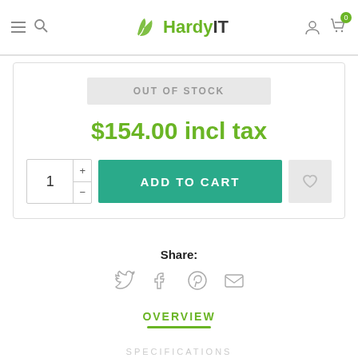HardyIT
OUT OF STOCK
$154.00 incl tax
ADD TO CART
Share:
[Figure (illustration): Social share icons: Twitter, Facebook, Pinterest, Email]
OVERVIEW
SPECIFICATIONS